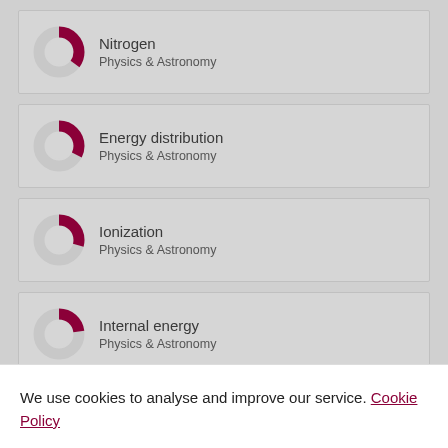Nitrogen — Physics & Astronomy
Energy distribution — Physics & Astronomy
Ionization — Physics & Astronomy
Internal energy — Physics & Astronomy
Energy — Physics & Astronomy
(partial, cropped)
We use cookies to analyse and improve our service. Cookie Policy